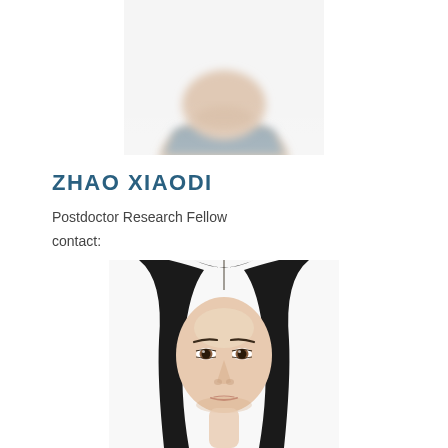[Figure (photo): Top portion of a person's face and shoulders, blurred/out-of-focus, against white background]
ZHAO XIAODI
Postdoctor Research Fellow
contact:
[Figure (photo): Portrait photo of a young woman with long straight black hair, looking directly at camera, against white background]